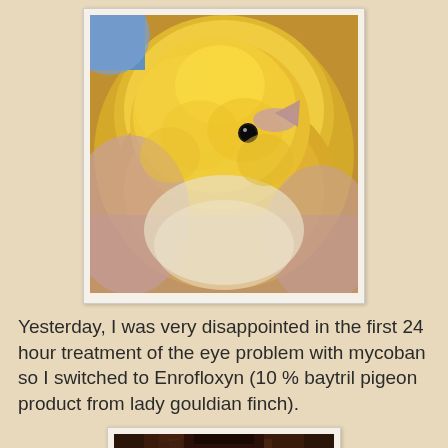[Figure (photo): Close-up photo of a young yellow canary bird (chick) being held in someone's hand. The bird has fluffy golden-yellow feathers on its head and body, a small beak, and a dark eye visible.]
Yesterday, I was very disappointed in the first 24 hour treatment of the eye problem with mycoban so I switched to Enrofloxyn (10 % baytril pigeon product from lady gouldian finch).
[Figure (photo): Photo of a dark brown/maroon bottle of liquid medication (Enrofloxyn), partially cut off at the bottom of the page.]